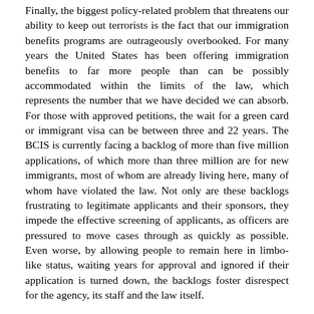Finally, the biggest policy-related problem that threatens our ability to keep out terrorists is the fact that our immigration benefits programs are outrageously overbooked. For many years the United States has been offering immigration benefits to far more people than can be possibly accommodated within the limits of the law, which represents the number that we have decided we can absorb. For those with approved petitions, the wait for a green card or immigrant visa can be between three and 22 years. The BCIS is currently facing a backlog of more than five million applications, of which more than three million are for new immigrants, most of whom are already living here, many of whom have violated the law. Not only are these backlogs frustrating to legitimate applicants and their sponsors, they impede the effective screening of applicants, as officers are pressured to move cases through as quickly as possible. Even worse, by allowing people to remain here in limbo-like status, waiting years for approval and ignored if their application is turned down, the backlogs foster disrespect for the agency, its staff and the law itself.
The current administration sees there is a problem, and has asked Congress to approve spending an additional $160 million next year to address it. Unfortunately, the White House and some in Congress have also suggested adding a new so-called temporary guestworker program that could easily bring in another six to ten...